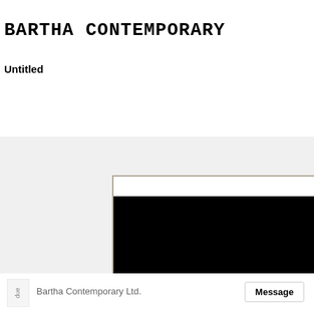BARTHA CONTEMPORARY
Untitled
[Figure (photo): Partial view of a framed artwork with a large black rectangular area on a light gray/off-white background, shown cropped]
Bartha Contemporary Ltd.
Message